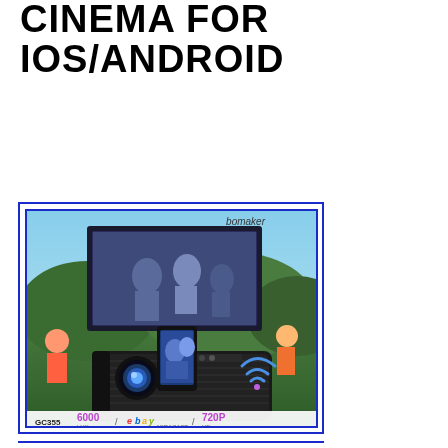CINEMA FOR IOS/ANDROID
POSTED ON MARCH 12, 2022
[Figure (photo): Bomaker GC355 portable projector product image showing projector with WiFi symbol, smartphone, and outdoor projection screen. Labels show: GC355, 6000 LUX, MIRACAST (eBay logo), 720P HD. Blue border frame around image.]